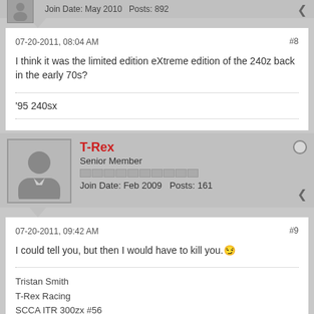Join Date: May 2010   Posts: 892
07-20-2011, 08:04 AM   #8
I think it was the limited edition eXtreme edition of the 240z back in the early 70s?
'95 240sx
T-Rex
Senior Member
Join Date: Feb 2009   Posts: 161
07-20-2011, 09:42 AM   #9
I could tell you, but then I would have to kill you.🙂
Tristan Smith
T-Rex Racing
SCCA ITR 300zx #56
Former SCCA ITA 240sx #56
IMSA RS 1978 Datsun 200sx #58